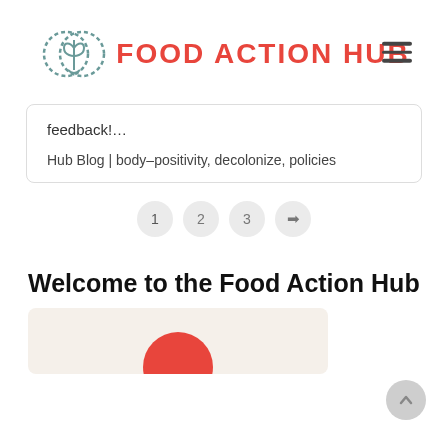FOOD ACTION HUB
feedback!…
Hub Blog | body-positivity, decolonize, policies
1  2  3  ➡
Welcome to the Food Action Hub
[Figure (illustration): Red circular logo/image partially visible at bottom of page, on a beige/cream background card]